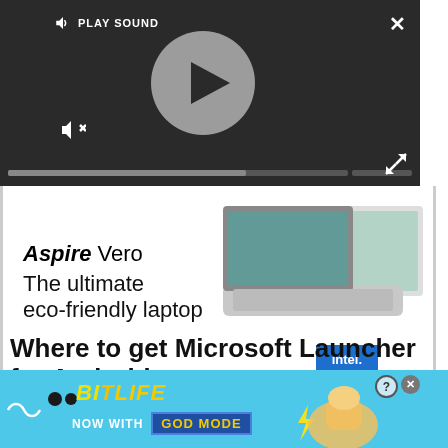[Figure (screenshot): Video player with dark background showing play button circle, PLAY SOUND label, mute icon, progress bar, X close button, and expand icon]
[Figure (screenshot): Advertisement for Acer Aspire Vero laptop with text 'Aspire Vero - The ultimate eco-friendly laptop' and Intel badge, showing two silver laptops]
Where to get Microsoft Launcher for Android
[Figure (screenshot): BitLife game advertisement banner with text 'NOW WITH GOD MODE' on cyan background with cartoon hands and lightning bolt]